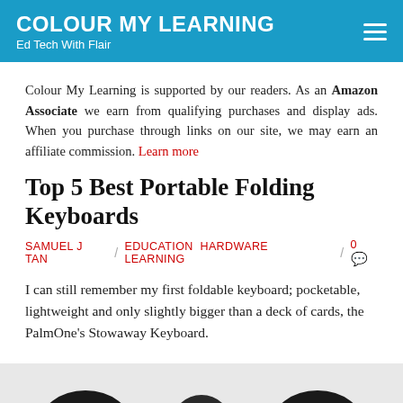COLOUR MY LEARNING
Ed Tech With Flair
Colour My Learning is supported by our readers. As an Amazon Associate we earn from qualifying purchases and display ads. When you purchase through links on our site, we may earn an affiliate commission. Learn more
Top 5 Best Portable Folding Keyboards
SAMUEL J TAN / Education Hardware Learning / 0
I can still remember my first foldable keyboard; pocketable, lightweight and only slightly bigger than a deck of cards, the PalmOne's Stowaway Keyboard.
[Figure (photo): Bottom portion of folding keyboard product images, showing dark-colored keyboards, partially visible at the bottom of the page.]